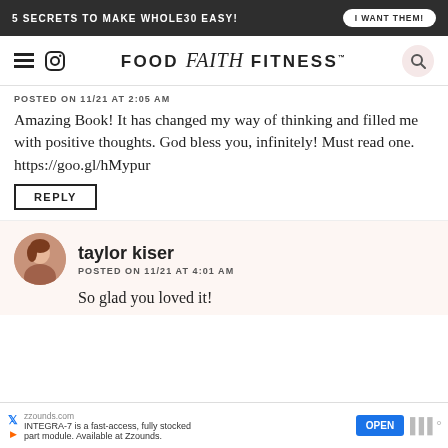5 SECRETS TO MAKE WHOLE30 EASY! | I WANT THEM!
[Figure (logo): Food Faith Fitness website logo with hamburger menu and Instagram icons on left, search icon on right]
POSTED ON 11/21 AT 2:05 AM
Amazing Book! It has changed my way of thinking and filled me with positive thoughts. God bless you, infinitely! Must read one. https://goo.gl/hMypur
REPLY
taylor kiser
POSTED ON 11/21 AT 4:01 AM
So glad you loved it!
[Figure (screenshot): Advertisement banner: zzounds.com - INTEGRA-7 is a fast-access, fully stocked part module. Available at Zzounds. OPEN button.]